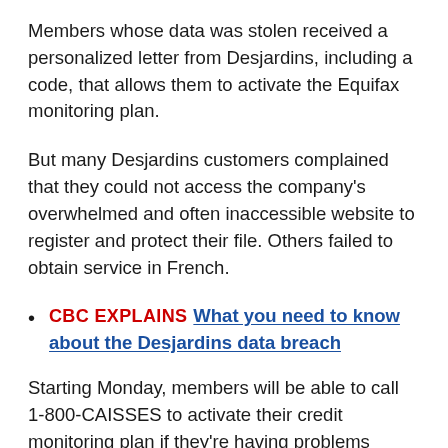Members whose data was stolen received a personalized letter from Desjardins, including a code, that allows them to activate the Equifax monitoring plan.
But many Desjardins customers complained that they could not access the company's overwhelmed and often inaccessible website to register and protect their file. Others failed to obtain service in French.
CBC EXPLAINS   What you need to know about the Desjardins data breach
Starting Monday, members will be able to call 1-800-CAISSES to activate their credit monitoring plan if they're having problems signing up online or over the phone with Equifax. Desjardins has also announced that...